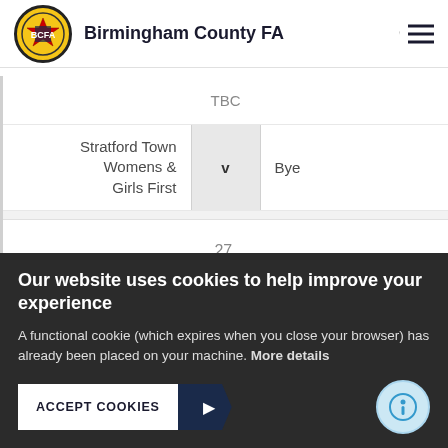Birmingham County FA
| Home | v | Away |
| --- | --- | --- |
| TBC |  |  |
| Stratford Town Womens & Girls First | v | Bye |
| 27. |  |  |
| TBC |  |  |
Our website uses cookies to help improve your experience
A functional cookie (which expires when you close your browser) has already been placed on your machine. More details
ACCEPT COOKIES